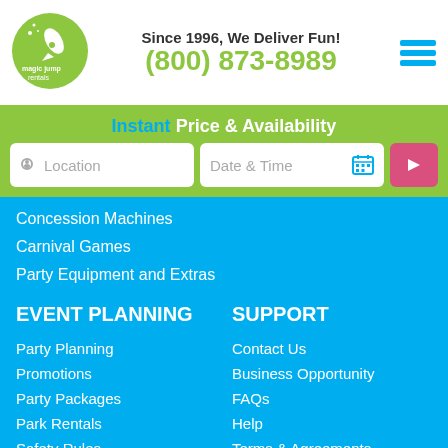[Figure (logo): Magic Jump Rentals logo - green circle with rocket and text]
Since 1996, We Deliver Fun!
(800) 873-8989
[Figure (other): Hamburger menu icon - three cyan horizontal bars]
Instant Price & Availability
Location
Date & Time
Concession Machines
Carnival Games
Party Equipment and Extras
EVENT PLANNING
SUPPORT
Party Planning
Contact Us
Promotions
Business Opportunity
Party Packages
FAQs
Park Rentals
Help
Safety Rules
Terms & Agreements
Inflatable Rental Tips
Privacy Policy
Rentals Checklist
Sitemap
[Figure (other): Offline chat bubble - Leave a Message]